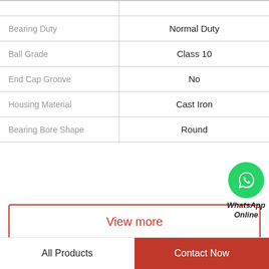| Property | Value |
| --- | --- |
| Bearing Duty | Normal Duty |
| Ball Grade | Class 10 |
| End Cap Groove | No |
| Housing Material | Cast Iron |
| Bearing Bore Shape | Round |
[Figure (logo): WhatsApp Online button with green phone icon circle and italic bold text 'WhatsApp Online']
View more
Company Profile
All Products | Contact Now